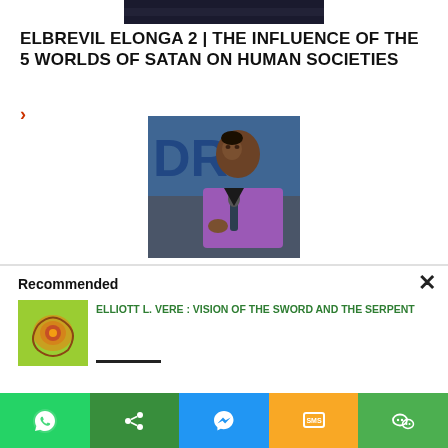[Figure (photo): Dark sky/clouds image cropped at top]
ELBREVIL ELONGA 2 | THE INFLUENCE OF THE 5 WORLDS OF SATAN ON HUMAN SOCIETIES
>
[Figure (photo): A man in a purple suit speaking into a microphone at a podium, with a blue background]
Recommended
[Figure (photo): Small thumbnail of decorative snake/serpent image on yellow-green background]
ELLIOTT L. VERE : VISION OF THE SWORD AND THE SERPENT